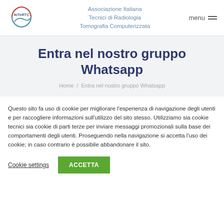[Figure (logo): AITeRTC circular logo with red and blue arcs]
Associazione Italiana Tecnici di Radiologia Tomografia Computerizzata
Entra nel nostro gruppo Whatsapp
Home / Entra nel nostro gruppo Whatsapp
Questo sito fa uso di cookie per migliorare l'esperienza di navigazione degli utenti e per raccogliere informazioni sull'utilizzo del sito stesso. Utilizziamo sia cookie tecnici sia cookie di parti terze per inviare messaggi promozionali sulla base dei comportamenti degli utenti. Proseguendo nella navigazione si accetta l'uso dei cookie; in caso contrario è possibile abbandonare il sito.
Cookie settings | ACCETTA